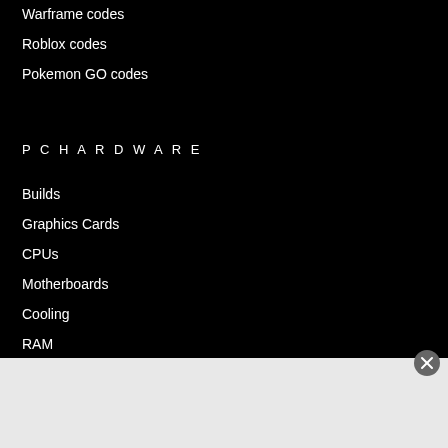Warframe codes
Roblox codes
Pokemon GO codes
PC HARDWARE
Builds
Graphics Cards
CPUs
Motherboards
Cooling
RAM
Power Supplies